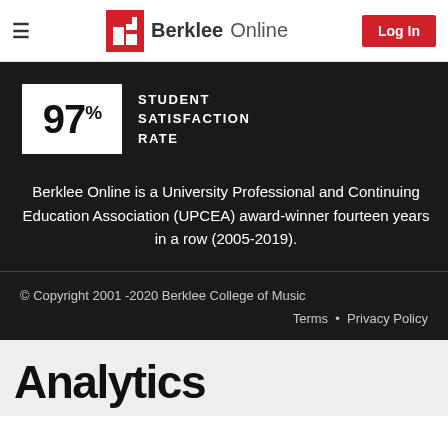≡  Berklee Online  Log In
[Figure (infographic): 97% Student Satisfaction Rate badge — white box with large bold '97%' text next to uppercase 'STUDENT SATISFACTION RATE' label]
Berklee Online is a University Professional and Continuing Education Association (UPCEA) award-winner fourteen years in a row (2005-2019).
© Copyright 2001 -2020 Berklee College of Music
Terms • Privacy Policy
Analytics